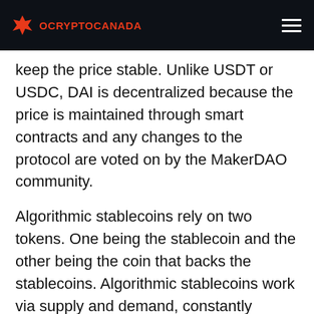OCRYPTOCANADA
keep the price stable. Unlike USDT or USDC, DAI is decentralized because the price is maintained through smart contracts and any changes to the protocol are voted on by the MakerDAO community.
Algorithmic stablecoins rely on two tokens. One being the stablecoin and the other being the coin that backs the stablecoins. Algorithmic stablecoins work via supply and demand, constantly minting and burning new tokens of each coin to maintain a steady price. These types of stablecoins are